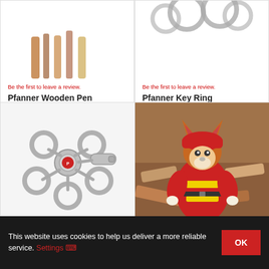[Figure (photo): Partial image of Pfanner Wooden Pen product at top of card (cropped, only top visible)]
Be the first to leave a review.
Pfanner Wooden Pen
£3.00 (inc VAT)  In stock
Add to Basket
[Figure (photo): Partial image of Pfanner Key Ring product at top of card (cropped, only top visible)]
Be the first to leave a review.
Pfanner Key Ring
£6.60 (inc VAT)  In stock
Add to Basket
[Figure (photo): Photo of a metal keyring with multiple rings and a Pfanner logo medallion, silver colored, on white background]
[Figure (photo): Photo of a Pfanner fox mascot plush toy wearing red and yellow high-visibility workwear uniform, sitting on wood chips]
This website uses cookies to help us deliver a more reliable service. Settings ∨
OK